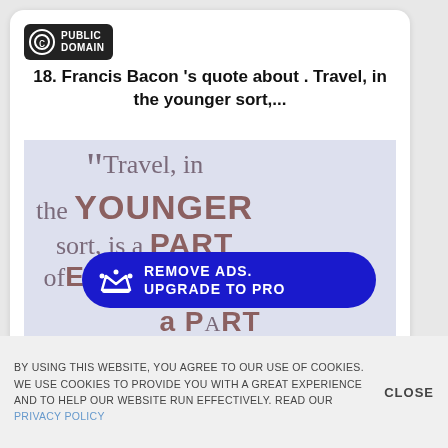[Figure (logo): Public Domain copyright badge — circular C symbol with 'PUBLIC DOMAIN' text on black background]
18. Francis Bacon 's quote about . Travel, in the younger sort,...
[Figure (illustration): Decorative typographic quote image on lavender background reading: Travel, in the YOUNGER sort, is a PART ofEDUCATION; with an 'REMOVE ADS. UPGRADE TO PRO' blue pill button overlay, and partial text 'a PART' visible at bottom]
BY USING THIS WEBSITE, YOU AGREE TO OUR USE OF COOKIES. WE USE COOKIES TO PROVIDE YOU WITH A GREAT EXPERIENCE AND TO HELP OUR WEBSITE RUN EFFECTIVELY. READ OUR PRIVACY POLICY
CLOSE